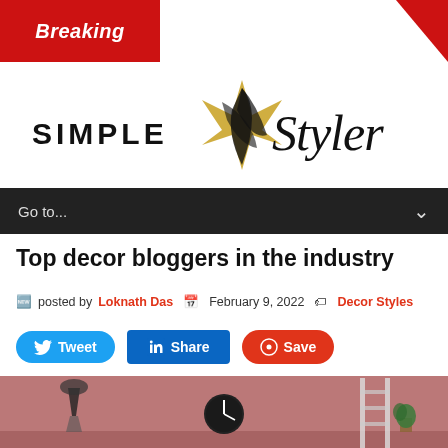Breaking
[Figure (logo): Simple Styler logo with gold and black star/leaf design]
Go to...
Top decor bloggers in the industry
posted by Loknath Das  February 9, 2022  Decor Styles
[Figure (infographic): Tweet, Share, Save social media buttons]
[Figure (photo): Pink room interior with lamp, clock, and ladder]